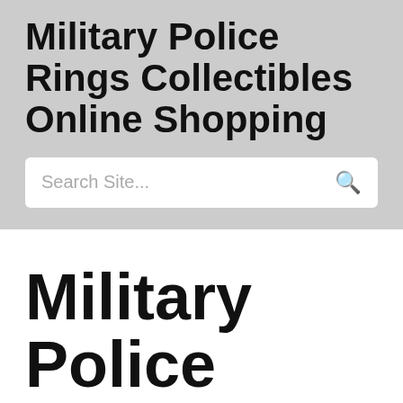Military Police Rings Collectibles Online Shopping
Search Site...
Military Police Rings